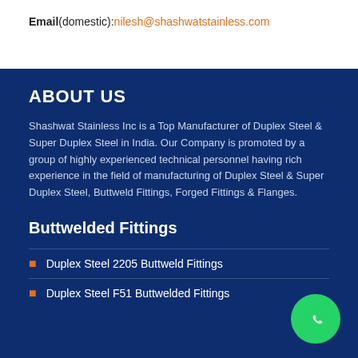Email(domestic):nilesh@shashwatstainless.com
ABOUT US
Shashwat Stainless Inc is a Top Manufacturer of Duplex Steel & Super Duplex Steel in India. Our Company is promoted by a group of highly experienced technical personnel having rich experience in the field of manufacturing of Duplex Steel & Super Duplex Steel, Buttweld Fittings, Forged Fittings & Flanges.
Buttwelded Fittings
Duplex Steel 2205 Buttweld Fittings
Duplex Steel F51 Buttwelded Fittings